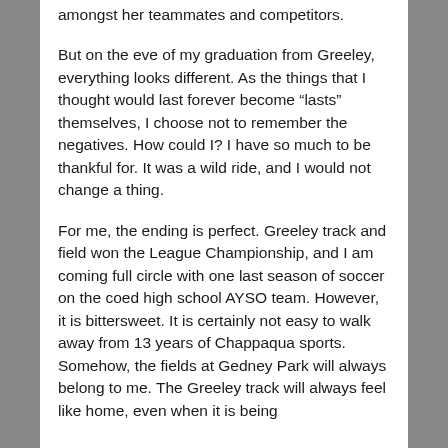amongst her teammates and competitors.
But on the eve of my graduation from Greeley, everything looks different. As the things that I thought would last forever become “lasts” themselves, I choose not to remember the negatives. How could I? I have so much to be thankful for. It was a wild ride, and I would not change a thing.
For me, the ending is perfect. Greeley track and field won the League Championship, and I am coming full circle with one last season of soccer on the coed high school AYSO team. However, it is bittersweet. It is certainly not easy to walk away from 13 years of Chappaqua sports. Somehow, the fields at Gedney Park will always belong to me. The Greeley track will always feel like home, even when it is being